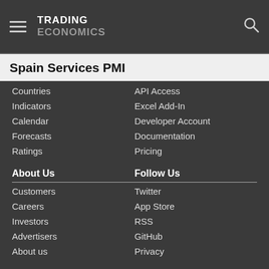TRADING ECONOMICS
Spain Services PMI
Countries
Indicators
Calendar
Forecasts
Ratings
API Access
Excel Add-In
Developer Account
Documentation
Pricing
About Us
Customers
Careers
Investors
Advertisers
About us
Follow Us
Twitter
App Store
RSS
GitHub
Privacy
Copyright ©2022 TRADING ECONOMICS
All Rights Reserved